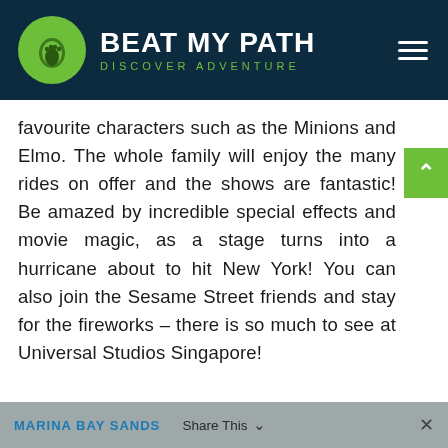BEAT MY PATH — DISCOVER ADVENTURE
favourite characters such as the Minions and Elmo. The whole family will enjoy the many rides on offer and the shows are fantastic! Be amazed by incredible special effects and movie magic, as a stage turns into a hurricane about to hit New York! You can also join the Sesame Street friends and stay for the fireworks – there is so much to see at Universal Studios Singapore!
MARINA BAY SANDS  Share This  ×